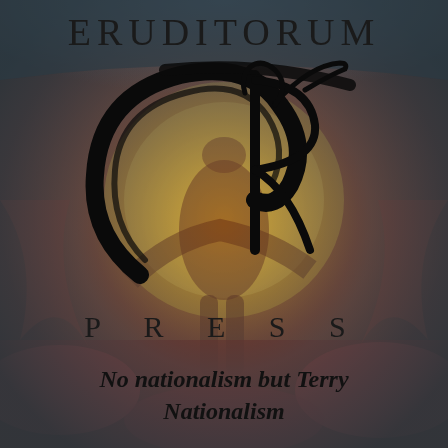[Figure (logo): Eruditorum Press logo page. Background shows a William Blake-style painting of a muscular figure crouching/reaching downward in a circular composition, with warm red/brown and golden tones overlaid with a dark grey-teal vignette. In the center-upper portion is a large stylized calligraphic 'EP' monogram in black. At the top is the word ERUDITORUM in spaced serif capitals. Below the monogram is PRESS in widely spaced serif capitals. At the bottom is the italic bold text 'No nationalism but Terry Nationalism'.]
ERUDITORUM
PRESS
No nationalism but Terry Nationalism